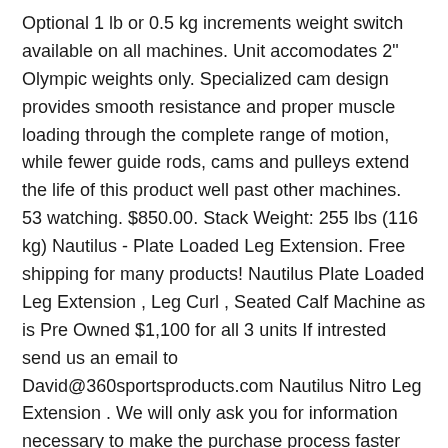Optional 1 lb or 0.5 kg increments weight switch available on all machines. Unit accomodates 2" Olympic weights only. Specialized cam design provides smooth resistance and proper muscle loading through the complete range of motion, while fewer guide rods, cams and pulleys extend the life of this product well past other machines. 53 watching. $850.00. Stack Weight: 255 lbs (116 kg) Nautilus - Plate Loaded Leg Extension. Free shipping for many products! Nautilus Plate Loaded Leg Extension , Leg Curl , Seated Calf Machine as is Pre Owned $1,100 for all 3 units If intrested send us an email to David@360sportsproducts.com Nautilus Nitro Leg Extension . We will only ask you for information necessary to make the purchase process faster and easier. Separate weight horns engage independent diverging and converging motions for equal strength development and muscle stimulation variety. Smart. Whether you're an experienced athlete or a beginner, everyone wants the ability to get a quick, easy and complete workout.